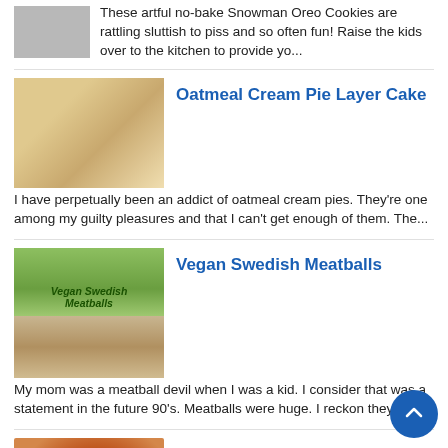[Figure (photo): Partial image of Snowman Oreo Cookies at top left]
These artful no-bake Snowman Oreo Cookies are rattling sluttish to piss and so often fun! Raise the kids over to the kitchen to provide yo...
[Figure (photo): Oatmeal Cream Pie Layer Cake - layered cake slice on a plate]
Oatmeal Cream Pie Layer Cake
I have perpetually been an addict of oatmeal cream pies. They're one among my guilty pleasures and that I can't get enough of them. The...
[Figure (photo): Vegan Swedish Meatballs - green background with label and meatball image]
Vegan Swedish Meatballs
My mom was a meatball devil when I was a kid. I consider that was a statement in the future 90's. Meatballs were huge. I reckon they ar...
[Figure (photo): Famous Taco Soup Keto Recipe Ideas - bowl of orange soup]
Famous Taco Soup Keto Recipe Ideas
Famous Taco Soup Keto Recipe Ideas . In a ski on the stove, crumble and cook ground beef, diced onion garlic over medium heat...